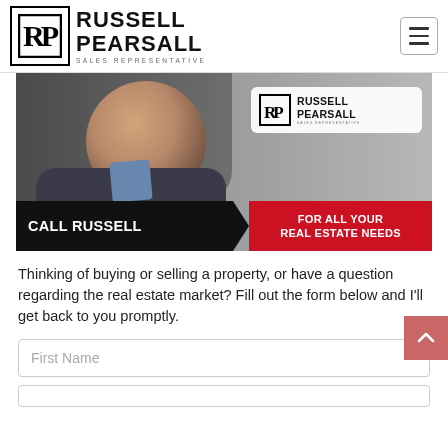RUSSELL PEARSALL SALES REPRESENTATIVE
[Figure (photo): Banner image of Russell Pearsall smiling, with a black and white house background. White card with logo top right. Bottom bar reads CALL RUSSELL FOR ALL YOUR REAL ESTATE NEEDS.]
Thinking of buying or selling a property, or have a question regarding the real estate market? Fill out the form below and I'll get back to you promptly.
First Name